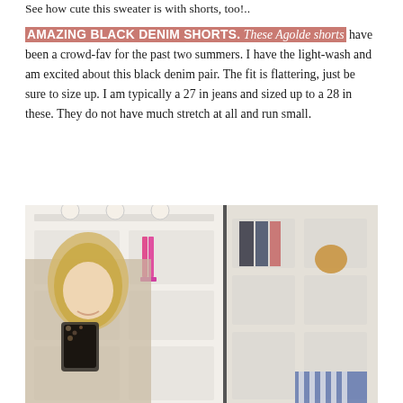See how cute this sweater is with shorts, too!..
AMAZING BLACK DENIM SHORTS. These Agolde shorts have been a crowd-fav for the past two summers. I have the light-wash and am excited about this black denim pair. The fit is flattering, just be sure to size up. I am typically a 27 in jeans and sized up to a 28 in these. They do not have much stretch at all and run small.
[Figure (photo): Woman with blonde hair taking a mirror selfie in a white closet/dressing room with built-in shelving, holding a leopard print phone case. Various clothing and accessories are visible on shelves in the background.]